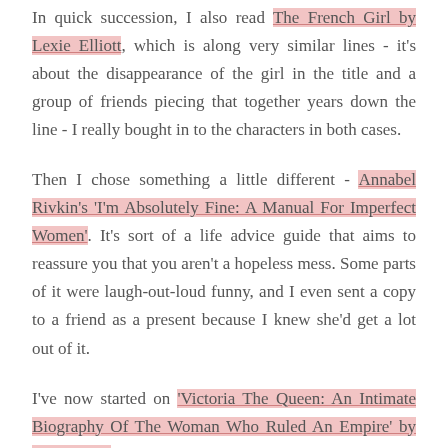In quick succession, I also read The French Girl by Lexie Elliott, which is along very similar lines - it's about the disappearance of the girl in the title and a group of friends piecing that together years down the line - I really bought in to the characters in both cases.
Then I chose something a little different - Annabel Rivkin's 'I'm Absolutely Fine: A Manual For Imperfect Women'. It's sort of a life advice guide that aims to reassure you that you aren't a hopeless mess. Some parts of it were laugh-out-loud funny, and I even sent a copy to a friend as a present because I knew she'd get a lot out of it.
I've now started on 'Victoria The Queen: An Intimate Biography Of The Woman Who Ruled An Empire' by Julie Baird. It's wonderfully written and really brings to life a monarch who can often seem dour and humourless. It's a period of history where things changed very rapidly, so it's interesting to learn more